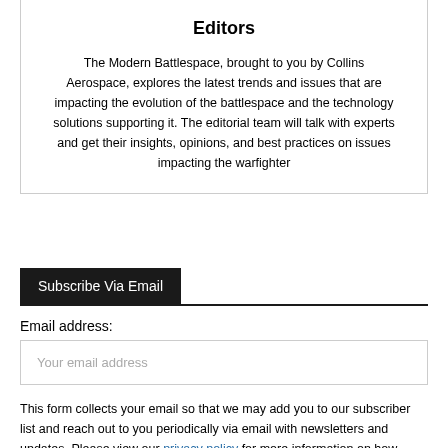Editors
The Modern Battlespace, brought to you by Collins Aerospace, explores the latest trends and issues that are impacting the evolution of the battlespace and the technology solutions supporting it. The editorial team will talk with experts and get their insights, opinions, and best practices on issues impacting the warfighter
Subscribe Via Email
Email address:
Your email address
This form collects your email so that we may add you to our subscriber list and reach out to you periodically via email with newsletters and updates. Please view our privacy policy for more information on how